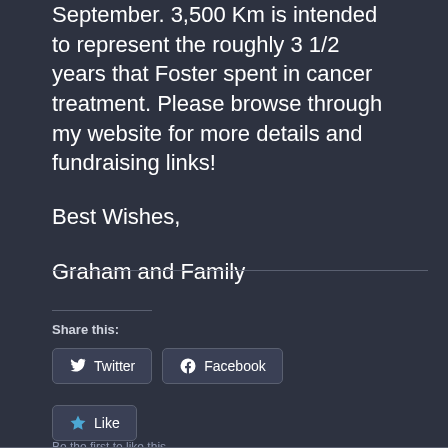September. 3,500 Km is intended to represent the roughly 3 1/2 years that Foster spent in cancer treatment. Please browse through my website for more details and fundraising links!
Best Wishes,
Graham and Family
Share this:
Twitter
Facebook
Like
Be the first to like this.